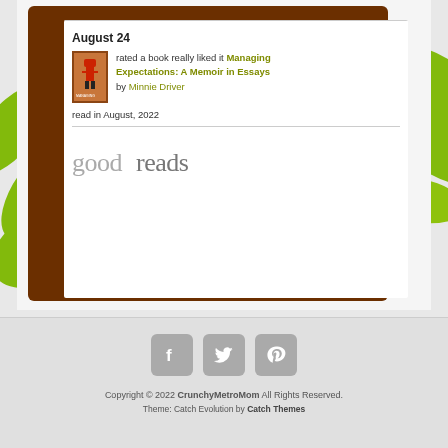[Figure (illustration): Green decorative leaf and vine swirl illustration in background]
August 24
rated a book really liked it Managing Expectations: A Memoir in Essays by Minnie Driver
read in August, 2022
[Figure (logo): Goodreads logo in grey text]
[Figure (infographic): Social media icons: Facebook, Twitter, Pinterest in grey rounded squares]
Copyright © 2022 CrunchyMetroMom All Rights Reserved. Theme: Catch Evolution by Catch Themes